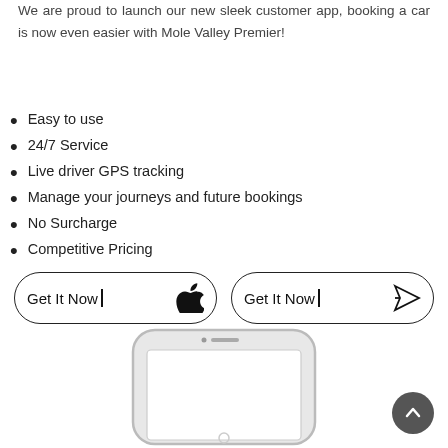We are proud to launch our new sleek customer app, booking a car is now even easier with Mole Valley Premier!
Easy to use
24/7 Service
Live driver GPS tracking
Manage your journeys and future bookings
No Surcharge
Competitive Pricing
[Figure (illustration): Two rounded rectangle buttons side by side. Left button: 'Get It Now |' with an Apple logo icon. Right button: 'Get It Now |' with a Play Store (paper plane) icon.]
[Figure (illustration): Illustration of a white smartphone (iPhone style) showing the front face with a blank white screen, front camera dot, speaker, and home button area.]